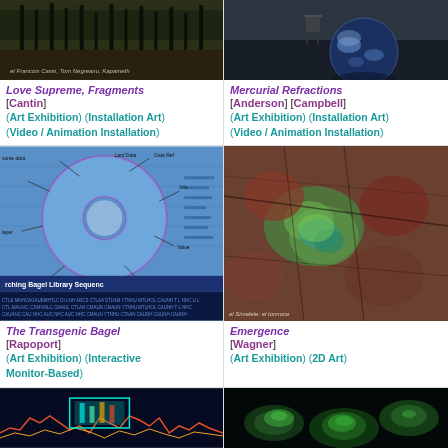[Figure (photo): Dark screenshot image for Love Supreme, Fragments artwork]
Love Supreme, Fragments
[Cantin]
(Art Exhibition) (Installation Art)
(Video / Animation Installation)
[Figure (photo): Dark room with chair and globe for Mercurial Refractions artwork]
Mercurial Refractions
[Anderson] [Campbell]
(Art Exhibition) (Installation Art)
(Video / Animation Installation)
[Figure (photo): Diagram of a bagel/torus with annotations and text overlay for The Transgenic Bagel artwork]
The Transgenic Bagel
[Rapoport]
(Art Exhibition) (Interactive Monitor-Based)
[Figure (photo): Abstract textured image of cracked earth with green and red for Emergence artwork]
Emergence
[Wagner]
(Art Exhibition) (2D Art)
[Figure (photo): Bottom left artwork thumbnail - dark blue with colorful waveforms]
[Figure (photo): Bottom right artwork thumbnail - dark green plant/nature imagery]